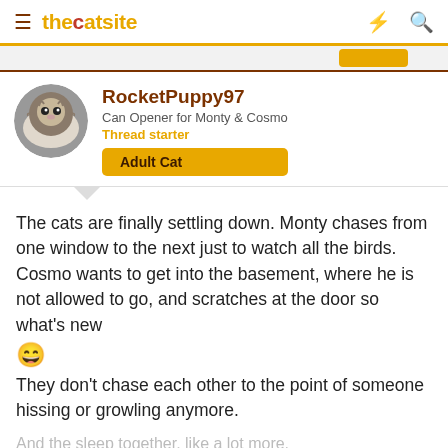thecatsite
RocketPuppy97
Can Opener for Monty & Cosmo
Thread starter
Adult Cat
The cats are finally settling down. Monty chases from one window to the next just to watch all the birds. Cosmo wants to get into the basement, where he is not allowed to go, and scratches at the door so what's new 😄
They don't chase each other to the point of someone hissing or growling anymore.
And the sleep together, like a lot more.
Here have some pics